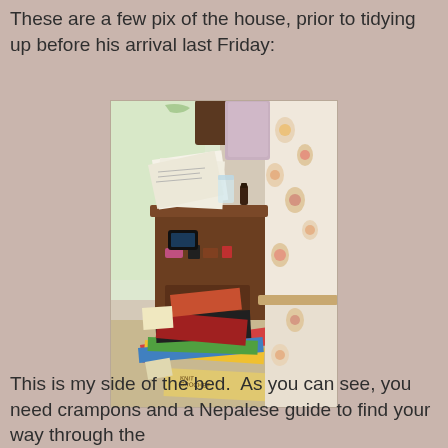These are a few pix of the house, prior to tidying up before his arrival last Friday:
[Figure (photo): A bedroom scene showing a cluttered nightstand with papers, a glass of water, and small items on top, and a large pile of books and magazines scattered on the floor next to a bed with a floral bedspread.]
This is my side of the bed.  As you can see, you need crampons and a Nepalese guide to find your way through the